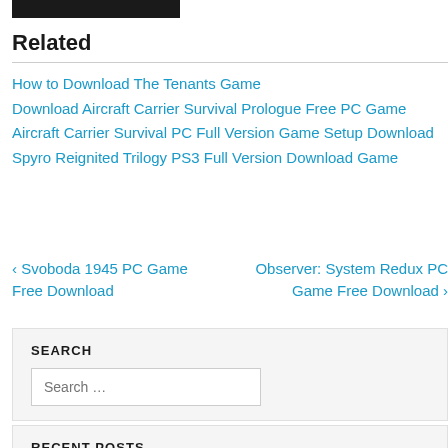[Figure (other): Black rectangle bar at top left]
Related
How to Download The Tenants Game
Download Aircraft Carrier Survival Prologue Free PC Game
Aircraft Carrier Survival PC Full Version Game Setup Download
Spyro Reignited Trilogy PS3 Full Version Download Game
‹ Svoboda 1945 PC Game Free Download
Observer: System Redux PC Game Free Download ›
SEARCH
Search …
RECENT POSTS